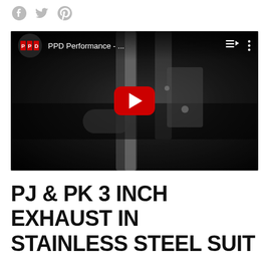[Figure (screenshot): Social media share icons: Facebook, Twitter, Pinterest in grey]
[Figure (screenshot): Embedded YouTube video player showing PPD Performance video of exhaust system, dark background with red YouTube play button. Channel: PPD Performance - ...]
PJ & PK 3 INCH EXHAUST IN STAINLESS STEEL SUIT